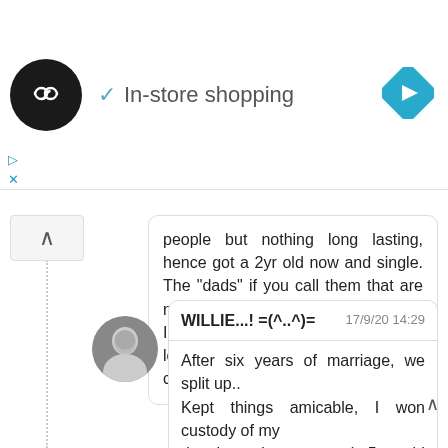[Figure (infographic): Ad banner with circular black logo containing infinity/loop symbol, checkmark and 'In-store shopping' text, blue diamond navigation icon on right]
people but nothing long lasting, hence got a 2yr old now and single. The "dads" if you call them that are not around, so just me and the boys. Is she selling her designs as I see a lot of people online on etsy selling crafts and clothing.
WILLIE...! =(^..^)=   17/9/20 14:29
After six years of marriage, we split up..
Kept things amicable, I won custody of my
daughter who was nearly 5yrs old which